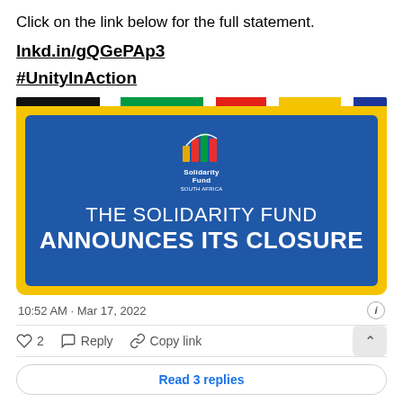Click on the link below for the full statement.
lnkd.in/gQGePAp3
#UnityInAction
[Figure (screenshot): The Solidarity Fund announces its closure — promotional card with yellow border, blue background, and logo with colored bars at the top (black, green, red, yellow, dark blue)]
10:52 AM · Mar 17, 2022
2  Reply  Copy link
Read 3 replies